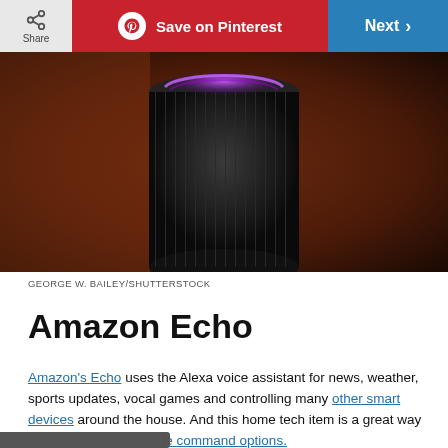Share | Save on Pinterest | Next
[Figure (photo): Amazon Echo smart speaker with purple illuminated ring light on top, dark cylindrical shape against dark/reddish background]
GEORGE W. BAILEY/SHUTTERSTOCK
Amazon Echo
Amazon's Echo uses the Alexa voice assistant for news, weather, sports updates, vocal games and controlling many other smart devices around the house. And this home tech item is a great way to experiment with voice command options.